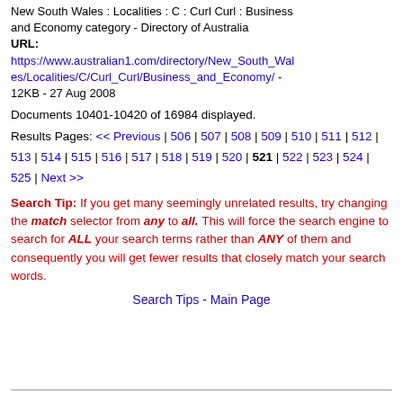New South Wales : Localities : C : Curl Curl : Business and Economy category - Directory of Australia
URL:
https://www.australian1.com/directory/New_South_Wales/Localities/C/Curl_Curl/Business_and_Economy/ - 12KB - 27 Aug 2008
Documents 10401-10420 of 16984 displayed.
Results Pages: << Previous | 506 | 507 | 508 | 509 | 510 | 511 | 512 | 513 | 514 | 515 | 516 | 517 | 518 | 519 | 520 | 521 | 522 | 523 | 524 | 525 | Next >>
Search Tip: If you get many seemingly unrelated results, try changing the match selector from any to all. This will force the search engine to search for ALL your search terms rather than ANY of them and consequently you will get fewer results that closely match your search words.
Search Tips - Main Page